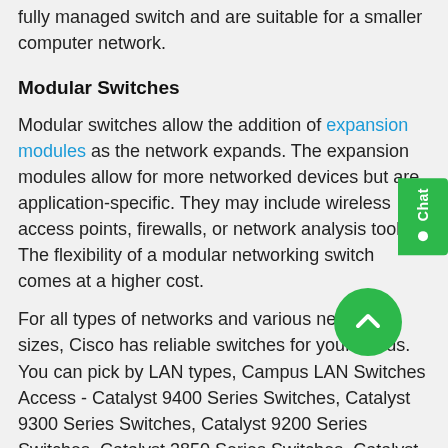fully managed switch and are suitable for a smaller computer network.
Modular Switches
Modular switches allow the addition of expansion modules as the network expands. The expansion modules allow for more networked devices but are application-specific. They may include wireless access points, firewalls, or network analysis tools. The flexibility of a modular networking switch comes at a higher cost.
For all types of networks and various network sizes, Cisco has reliable switches for your needs. You can pick by LAN types, Campus LAN Switches Access - Catalyst 9400 Series Switches, Catalyst 9300 Series Switches, Catalyst 9200 Series Switches, Catalyst 3850 Series Switches, Catalyst 3650 Series Switches, Catalyst 2960-X/XR Series Switches, Catalyst 2960-L Series Switches. The Campus LAN Switches Compact- Catalyst 3560-CX Series Switches, Catalyst 2960-CX Series Switches, Catalyst 2960-C Series Switches. The Campus LAN Switches-Core and Distribution Catalyst 9500 Series, Catalyst 9600 Series, Catalyst 3850 Fiber Series,